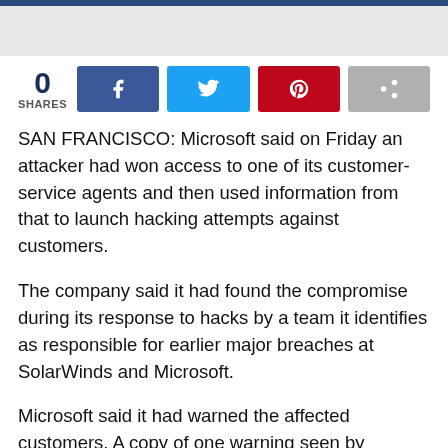[Figure (other): Top navigation bar (dark blue) and gray image placeholder area]
0
SHARES
[Figure (other): Social share buttons: Facebook (dark blue), Twitter (light blue), Pinterest (red), Share (gray)]
SAN FRANCISCO: Microsoft said on Friday an attacker had won access to one of its customer-service agents and then used information from that to launch hacking attempts against customers.
The company said it had found the compromise during its response to hacks by a team it identifies as responsible for earlier major breaches at SolarWinds and Microsoft.
Microsoft said it had warned the affected customers. A copy of one warning seen by Reuters said the attacker belonged to the group Microsoft calls Nobelium and that it had access during the second half of May.